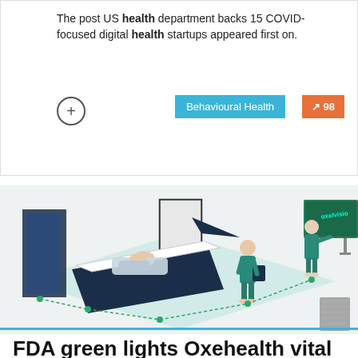The post US health department backs 15 COVID-focused digital health startups appeared first on.
[Figure (illustration): Isometric illustration of a hospital room with a patient lying on a bed, two healthcare workers standing, connected by dotted lines representing digital health monitoring. A screen on the right shows 'Oxevision' branding.]
FDA green lights Oxehealth vital